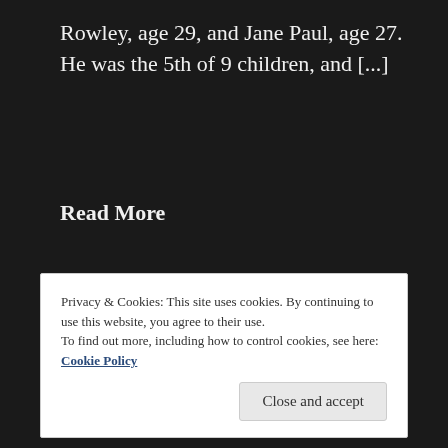Rowley, age 29, and Jane Paul, age 27. He was the 5th of 9 children, and [...]
Read More
Privacy & Cookies: This site uses cookies. By continuing to use this website, you agree to their use.
To find out more, including how to control cookies, see here: Cookie Policy
Close and accept